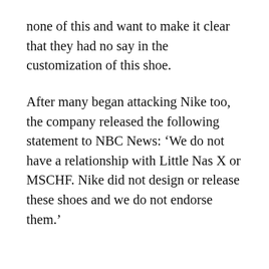none of this and want to make it clear that they had no say in the customization of this shoe.
After many began attacking Nike too, the company released the following statement to NBC News: ‘We do not have a relationship with Little Nas X or MSCHF. Nike did not design or release these shoes and we do not endorse them.’